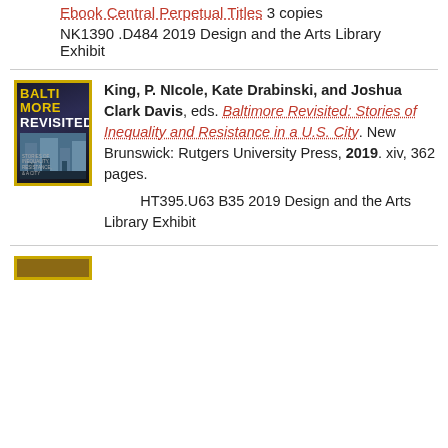Ebook Central Perpetual Titles 3 copies
NK1390 .D484 2019 Design and the Arts Library Exhibit
[Figure (photo): Book cover of Baltimore Revisited with yellow border, dark background, city building imagery, title in yellow and white text]
King, P. Nicole, Kate Drabinski, and Joshua Clark Davis, eds. Baltimore Revisited: Stories of Inequality and Resistance in a U.S. City. New Brunswick: Rutgers University Press, 2019. xiv, 362 pages.
HT395.U63 B35 2019 Design and the Arts Library Exhibit
[Figure (photo): Partial view of another book cover with yellow border at bottom of page]